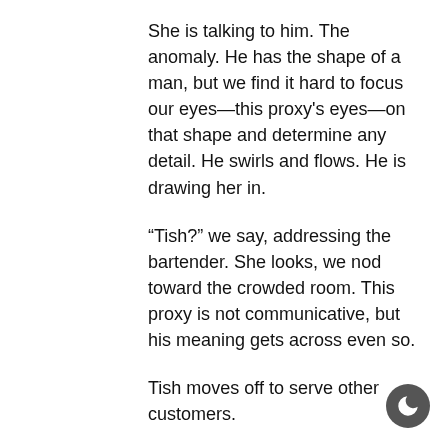She is talking to him. The anomaly. He has the shape of a man, but we find it hard to focus our eyes—this proxy's eyes—on that shape and determine any detail. He swirls and flows. He is drawing her in.
“Tish?” we say, addressing the bartender. She looks, we nod toward the crowded room. This proxy is not communicative, but his meaning gets across even so.
Tish moves off to serve other customers.
We withdraw, as data flashes.
The Falling Droplet. We are several levels away, in this cliff-face city. We open a channel through the consensus, arriving in seconds.